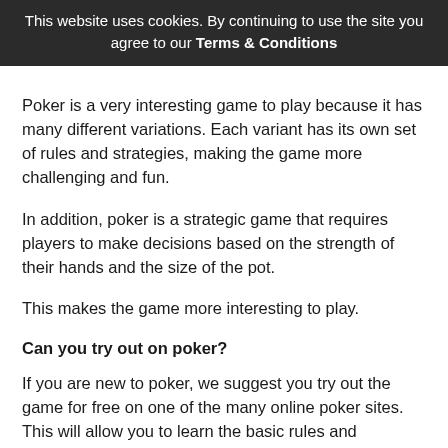This website uses cookies. By continuing to use the site you agree to our Terms & Conditions
Poker is a very interesting game to play because it has many different variations. Each variant has its own set of rules and strategies, making the game more challenging and fun.
In addition, poker is a strategic game that requires players to make decisions based on the strength of their hands and the size of the pot.
This makes the game more interesting to play.
Can you try out on poker?
If you are new to poker, we suggest you try out the game for free on one of the many online poker sites. This will allow you to learn the basic rules and strategies of the game before playing for real money.